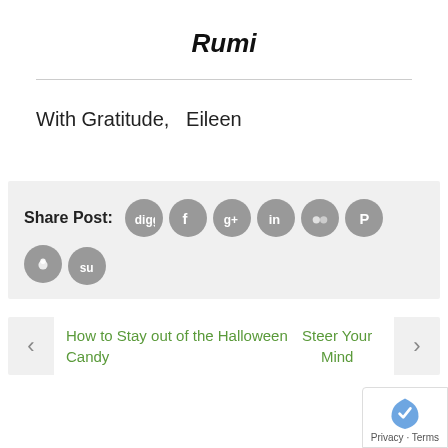Rumi
With Gratitude,   Eileen
[Figure (infographic): Share Post social media icons: Digg, Facebook, Google+, LinkedIn, Myspace, Pinterest, Reddit, StumbleUpon]
How to Stay out of the Halloween Candy Steer Your Mind